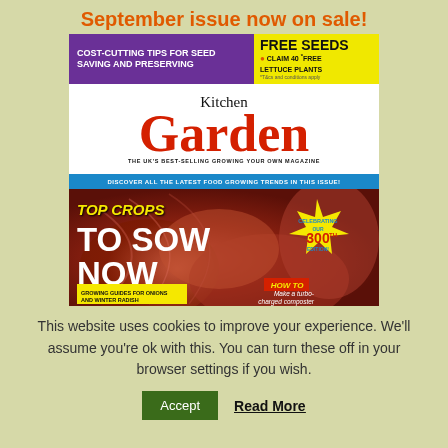September issue now on sale!
[Figure (photo): Kitchen Garden magazine cover: September issue. Features 'Cost-cutting tips for seed saving and preserving' and 'Free Seeds - Claim 40 *Free Lettuce Plants'. Large red 'Kitchen Garden' masthead with tagline 'The UK's best-selling growing your own magazine'. Blue banner: 'Discover all the latest food growing trends in this issue!'. Main feature: 'Top Crops To Sow Now' in yellow/white text over red onion photo. Star badge: 'Celebrating our 300th edition!'. Subheadings: 'Growing guides for onions and winter radish' and 'How To Make a turbo-charged composter'.]
This website uses cookies to improve your experience. We'll assume you're ok with this. You can turn these off in your browser settings if you wish.
Accept
Read More